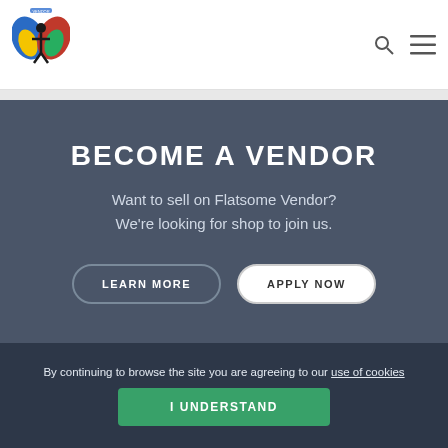[Figure (logo): Flatsome Vendor logo: colorful butterfly/person figure with Swedish and Nigerian flag colors, blue and yellow, red and green]
BECOME A VENDOR
Want to sell on Flatsome Vendor? We're looking for shop to join us.
LEARN MORE   APPLY NOW
By continuing to browse the site you are agreeing to our use of cookies
I UNDERSTAND